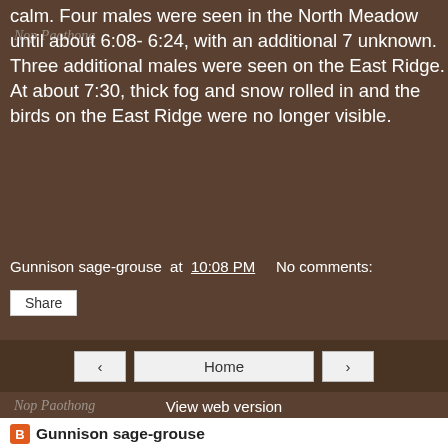calm. Four males were seen in the North Meadow until about 6:08- 6:24, with an additional 7 unknown. Three additional males were seen on the East Ridge. At about 7:30, thick fog and snow rolled in and the birds on the East Ridge were no longer visible.
Gunnison sage-grouse at 10:08 PM   No comments:
Share
[Figure (photo): Navigation bar with previous, Home, and next buttons over a bird photograph]
View web version
Gunnison sage-grouse
Gunnison, Colorado, United States
Gunnison Sage-grouse at the Waunita Watchable Wildlife Site in Gunnison, Colorado
View my complete profile
Powered by Blogger.